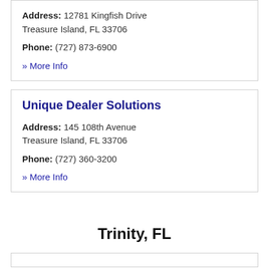Address: 12781 Kingfish Drive Treasure Island, FL 33706
Phone: (727) 873-6900
» More Info
Unique Dealer Solutions
Address: 145 108th Avenue Treasure Island, FL 33706
Phone: (727) 360-3200
» More Info
Trinity, FL